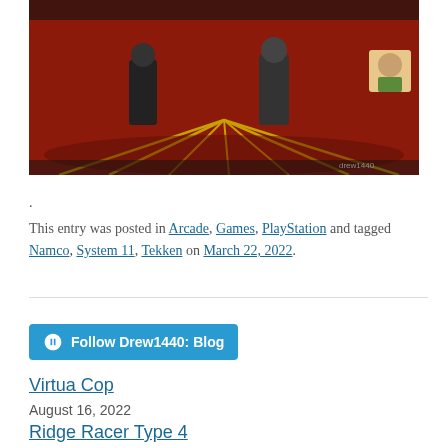[Figure (screenshot): Screenshot of a video game (likely Tekken) showing characters on a red background with yellow lines]
.
This entry was posted in Arcade, Games, PlayStation and tagged Namco, System 11, Tekken on March 22, 2022.
[Figure (other): Follow Drew1440: Blog button with WordPress icon]
Virtua Cop
August 16, 2022
Ridge Racer Type 4